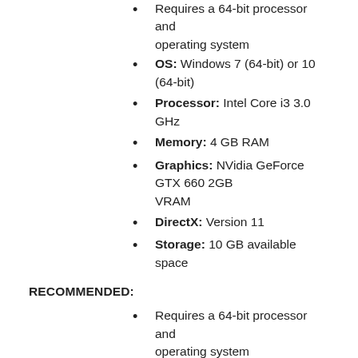Requires a 64-bit processor and operating system
OS: Windows 7 (64-bit) or 10 (64-bit)
Processor: Intel Core i3 3.0 GHz
Memory: 4 GB RAM
Graphics: NVidia GeForce GTX 660 2GB VRAM
DirectX: Version 11
Storage: 10 GB available space
RECOMMENDED:
Requires a 64-bit processor and operating system
OS: Windows 10
Processor: Intel Core i5 (recent generation)
Memory: 8 GB RAM
Graphics: NVidia GeForce GTX 980...